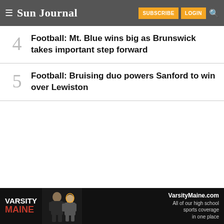Sun Journal — SUBSCRIBE LOGIN
4 Football: Mt. Blue wins big as Brunswick takes important step forward
5 Football: Bruising duo powers Sanford to win over Lewiston
[Figure (photo): VarsityMaine.com advertisement banner showing football players in action with text: 'VARSITY MAINE — VarsityMaine.com — All of our high school sports coverage in one place']